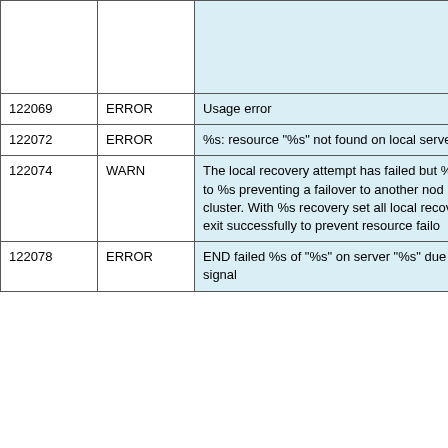| Number | Type | Message | Details |
| --- | --- | --- | --- |
|  |  |  |  |
| 122069 | ERROR | Usage error |  |
| 122072 | ERROR | %s: resource "%s" not found on local server |  |
| 122074 | WARN | The local recovery attempt has failed but %s set to %s preventing a failover to another node cluster. With %s recovery set all local recovery will exit successfully to prevent resource failo... |  |
| 122078 | ERROR | END failed %s of "%s" on server "%s" due to signal |  |